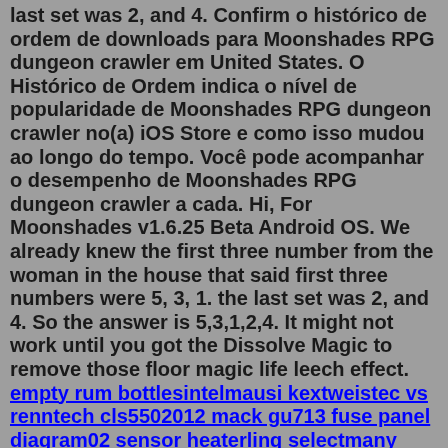last set was 2, and 4. Confirm o histórico de ordem de downloads para Moonshades RPG dungeon crawler em United States. O Histórico de Ordem indica o nível de popularidade de Moonshades RPG dungeon crawler no(a) iOS Store e como isso mudou ao longo do tempo. Você pode acompanhar o desempenho de Moonshades RPG dungeon crawler a cada. Hi, For Moonshades v1.6.25 Beta Android OS. We already knew the first three number from the woman in the house that said first three numbers were 5, 3, 1. the last set was 2, and 4. So the answer is 5,3,1,2,4. It might not work until you got the Dissolve Magic to remove those floor magic life leech effect. empty rum bottlesintelmausi kextweistec vs renntech cls5502012 mack gu713 fuse panel diagram02 sensor heaterlinq selectmany examplescalendarpedia march 2022mamagen base501c7 lookupwlns breaking news todaystainless steel tapping saddleavengers x reader birthday xo